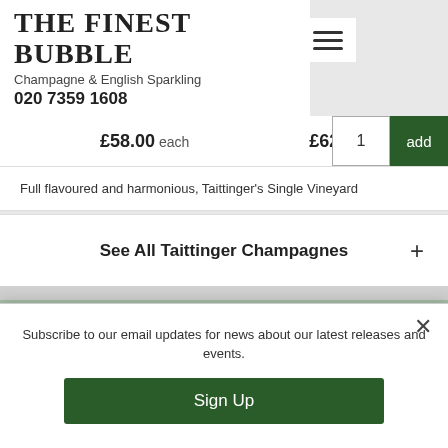THE FINEST BUBBLE
Champagne & English Sparkling
020 7359 1608
£58.00 each  £62.00
Full flavoured and harmonious, Taittinger's Single Vineyard
See All Taittinger Champagnes +
HOW YOUR CHAMPAGNE IS PACKAGED - 100% ECO-FRIENDLY PACKAGING:
[Figure (photo): Photo of eco-friendly champagne packaging materials in a store or warehouse setting]
Subscribe to our email updates for news about our latest releases and events.
Sign Up